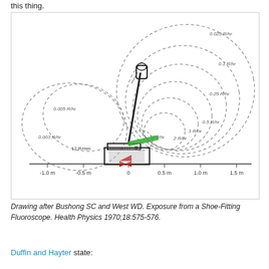this thing.
[Figure (engineering-diagram): Radiation exposure isodose contour diagram of a shoe-fitting fluoroscope, showing dashed oval contour lines labeled 0.025 R/hr, 0.1 R/hr, 0.25 R/hr, 0.5 R/hr, 1 R/hr, 2 R/hr, 12 R/hr, 0.005 R/hr, 0.003 R/hr radiating outward from the device. A green bar and red hourglass shape indicate the beam and target. X-axis shows distance from -1.0 m to 1.5 m. Label '12 R/min' and 'X' mark the exposure point.]
Drawing after Bushong SC and West WD. Exposure from a Shoe-Fitting Fluoroscope. Health Physics 1970;18:575-576.
Duffin and Hayter state: